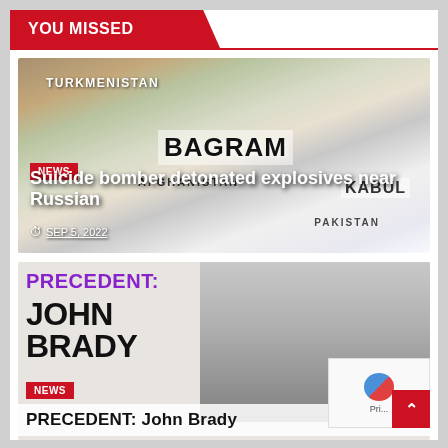YOU MISSED
[Figure (photo): Satellite/terrain map showing Afghanistan region with labels: TURKMENISTAN, BAGRAM, AFGHANISTAN, KABUL, PAKISTAN. A red location pin marker is visible near Kabul.]
NEWS
Suicide bomber detonated explosives near Russian
SEP 5, 2022
[Figure (photo): Black and white photo of several people (men) standing together outdoors. Overlaid with text: PRECEDENT: JOHN BRADY in large bold type, NEWS badge, and subtitle PRECEDENT: John Brady]
NEWS
PRECEDENT: John Brady